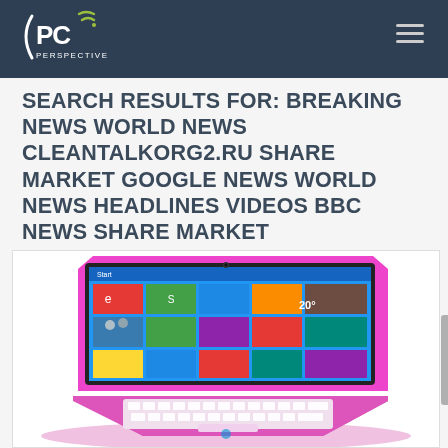PC Perspective
SEARCH RESULTS FOR: BREAKING NEWS WORLD NEWS CLEANTALKORG2.RU SHARE MARKET GOOGLE NEWS WORLD NEWS HEADLINES VIDEOS BBC NEWS SHARE MARKET
[Figure (photo): Pink/magenta HP laptop computer open with Windows 8 start screen displayed, viewed from a slight angle showing keyboard and screen]